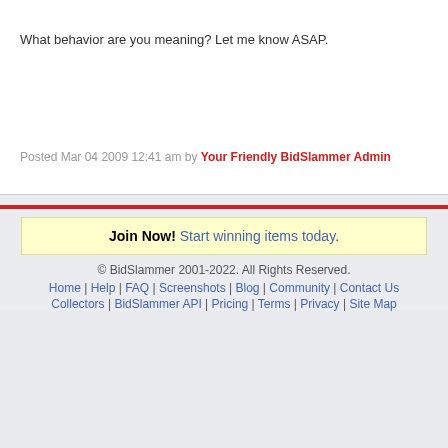What behavior are you meaning? Let me know ASAP.
Posted Mar 04 2009 12:41 am by Your Friendly BidSlammer Admin
Join Now! Start winning items today.
© BidSlammer 2001-2022. All Rights Reserved.
Home | Help | FAQ | Screenshots | Blog | Community | Contact Us Collectors | BidSlammer API | Pricing | Terms | Privacy | Site Map